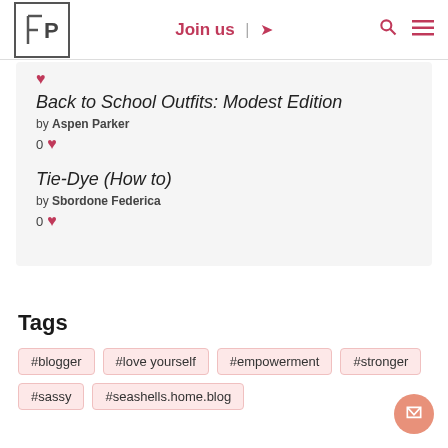FP | Join us | [login icon] [search icon] [menu icon]
Back to School Outfits: Modest Edition
by Aspen Parker
0 ♥
Tie-Dye (How to)
by Sbordone Federica
0 ♥
Tags
#blogger
#love yourself
#empowerment
#stronger
#sassy
#seashells.home.blog